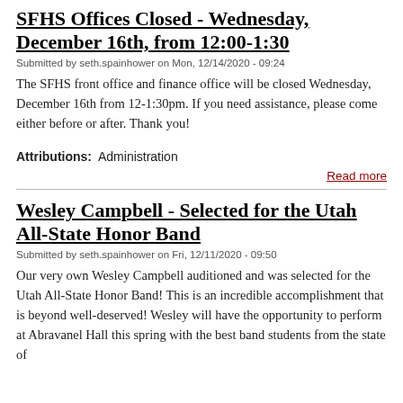SFHS Offices Closed - Wednesday, December 16th, from 12:00-1:30
Submitted by seth.spainhower on Mon, 12/14/2020 - 09:24
The SFHS front office and finance office will be closed Wednesday, December 16th from 12-1:30pm. If you need assistance, please come either before or after. Thank you!
Attributions:  Administration
Read more
Wesley Campbell - Selected for the Utah All-State Honor Band
Submitted by seth.spainhower on Fri, 12/11/2020 - 09:50
Our very own Wesley Campbell auditioned and was selected for the Utah All-State Honor Band! This is an incredible accomplishment that is beyond well-deserved! Wesley will have the opportunity to perform at Abravanel Hall this spring with the best band students from the state of